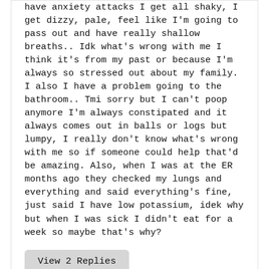have anxiety attacks I get all shaky, I get dizzy, pale, feel like I'm going to pass out and have really shallow breaths.. Idk what's wrong with me I think it's from my past or because I'm always so stressed out about my family. I also I have a problem going to the bathroom.. Tmi sorry but I can't poop anymore I'm always constipated and it always comes out in balls or logs but lumpy, I really don't know what's wrong with me so if someone could help that'd be amazing. Also, when I was at the ER months ago they checked my lungs and everything and said everything's fine, just said I have low potassium, idek why but when I was sick I didn't eat for a week so maybe that's why?
View 2 Replies
Trouble Breathing? Altitude Or Anxiety?
A little less than a month ago now I moved from